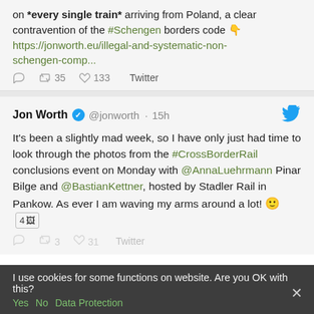on *every single train* arriving from Poland, a clear contravention of the #Schengen borders code 👇 https://jonworth.eu/illegal-and-systematic-non-schengen-comp...
💬 🔁 35 ♡ 133 Twitter
Jon Worth ✓ @jonworth · 15h
It's been a slightly mad week, so I have only just had time to look through the photos from the #CrossBorderRail conclusions event on Monday with @AnnaLuehrmann Pinar Bilge and @BastianKettner, hosted by Stadler Rail in Pankow. As ever I am waving my arms around a lot! 🙂 4 🖼️
I use cookies for some functions on website. Are you OK with this? Yes No Data Protection